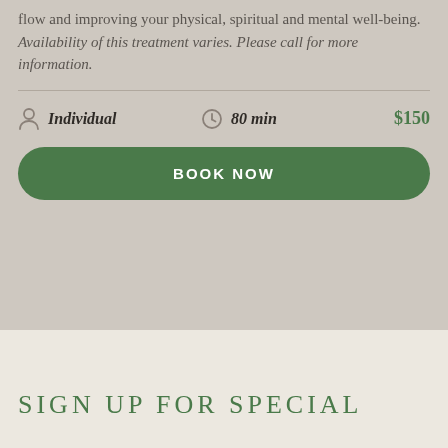flow and improving your physical, spiritual and mental well-being. Availability of this treatment varies. Please call for more information.
Individual | 80 min | $150
BOOK NOW
SIGN UP FOR SPECIAL